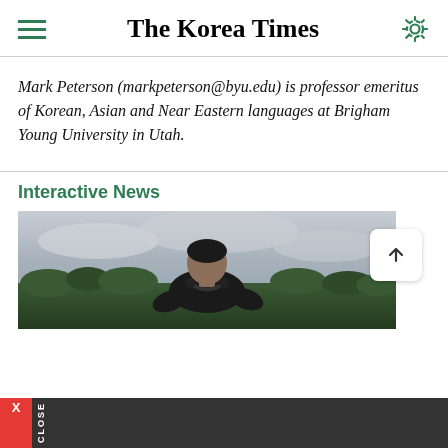The Korea Times
Mark Peterson (markpeterson@byu.edu) is professor emeritus of Korean, Asian and Near Eastern languages at Brigham Young University in Utah.
Interactive News
[Figure (photo): A man wearing a black sleeveless shirt, leaning forward with headphones around his neck, against a cloudy sky and green trees background]